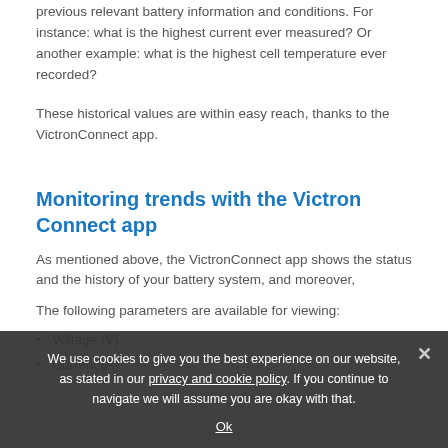previous relevant battery information and conditions. For instance: what is the highest current ever measured? Or another example: what is the highest cell temperature ever recorded?
These historical values are within easy reach, thanks to the VictronConnect app.
Monitoring trends with the Victron Connect app
As mentioned above, the VictronConnect app shows the status and the history of your battery system, and moreover...
The following parameters are available for viewing:
Voltage (V)
Current (A)
We use cookies to give you the best experience on our website, as stated in our privacy and cookie policy. If you continue to navigate we will assume you are okay with that.
Ok